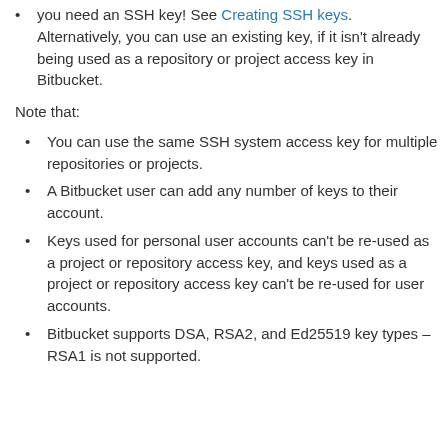you need an SSH key! See Creating SSH keys. Alternatively, you can use an existing key, if it isn't already being used as a repository or project access key in Bitbucket.
Note that:
You can use the same SSH system access key for multiple repositories or projects.
A Bitbucket user can add any number of keys to their account.
Keys used for personal user accounts can't be re-used as a project or repository access key, and keys used as a project or repository access key can't be re-used for user accounts.
Bitbucket supports DSA, RSA2, and Ed25519 key types – RSA1 is not supported.